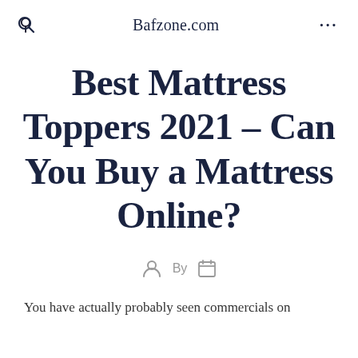Bafzone.com
Best Mattress Toppers 2021 – Can You Buy a Mattress Online?
By
You have actually probably seen commercials on